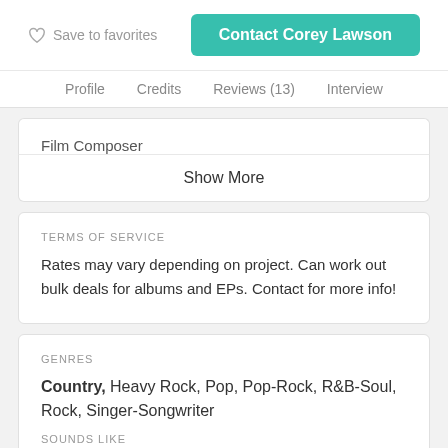Save to favorites
Contact Corey Lawson
Profile  Credits  Reviews (13)  Interview
Film Composer
Show More
TERMS OF SERVICE
Rates may vary depending on project. Can work out bulk deals for albums and EPs. Contact for more info!
GENRES
Country, Heavy Rock, Pop, Pop-Rock, R&B-Soul, Rock, Singer-Songwriter
SOUNDS LIKE